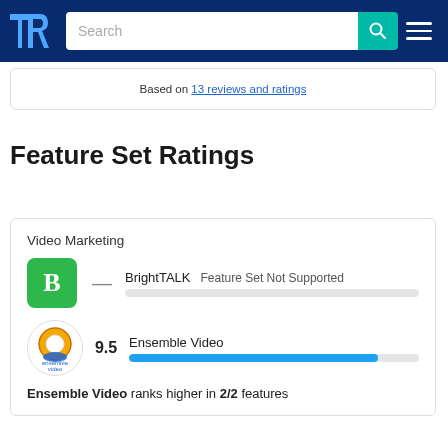TrustRadius navigation bar with logo, search box, and hamburger menu
Based on 13 reviews and ratings
Feature Set Ratings
Video Marketing
— BrightTALK   Feature Set Not Supported
9.5  Ensemble Video
Ensemble Video ranks higher in 2/2 features